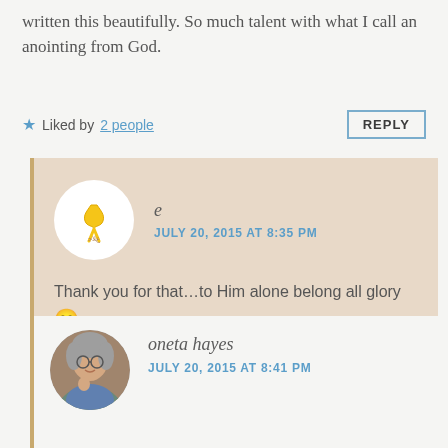written this beautifully. So much talent with what I call an anointing from God.
★ Liked by 2 people
REPLY
e
JULY 20, 2015 AT 8:35 PM
Thank you for that…to Him alone belong all glory 😊
★ Liked by 1 person
REPLY
oneta hayes
JULY 20, 2015 AT 8:41 PM